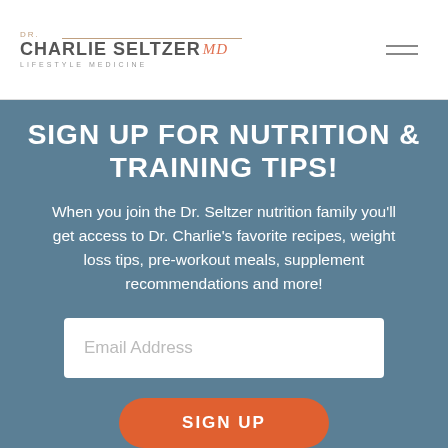DR. CHARLIE SELTZER MD LIFESTYLE MEDICINE
SIGN UP FOR NUTRITION & TRAINING TIPS!
When you join the Dr. Seltzer nutrition family you’ll get access to Dr. Charlie’s favorite recipes, weight loss tips, pre-workout meals, supplement recommendations and more!
Email Address
SIGN UP